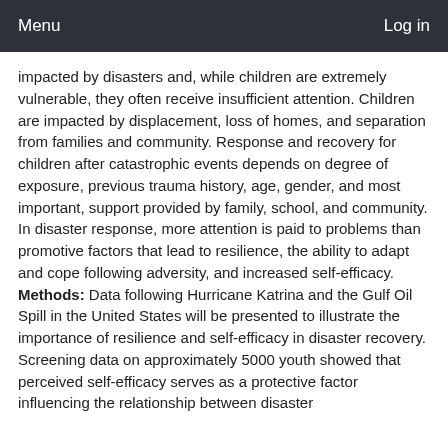Menu  Log in
impacted by disasters and, while children are extremely vulnerable, they often receive insufficient attention. Children are impacted by displacement, loss of homes, and separation from families and community. Response and recovery for children after catastrophic events depends on degree of exposure, previous trauma history, age, gender, and most important, support provided by family, school, and community. In disaster response, more attention is paid to problems than promotive factors that lead to resilience, the ability to adapt and cope following adversity, and increased self-efficacy. Methods: Data following Hurricane Katrina and the Gulf Oil Spill in the United States will be presented to illustrate the importance of resilience and self-efficacy in disaster recovery. Screening data on approximately 5000 youth showed that perceived self-efficacy serves as a protective factor influencing the relationship between disaster exposure and trauma symptoms. Another data set...